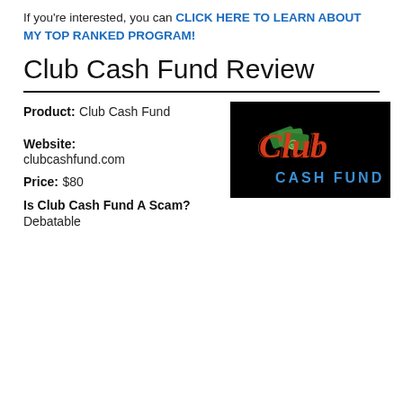If you're interested, you can CLICK HERE TO LEARN ABOUT MY TOP RANKED PROGRAM!
Club Cash Fund Review
Product: Club Cash Fund
[Figure (logo): Club Cash Fund logo on black background with red cursive 'Club' text and green money fan graphic, blue 'CASH FUND' text below]
Website: clubcashfund.com
Price: $80
Is Club Cash Fund A Scam? Debatable